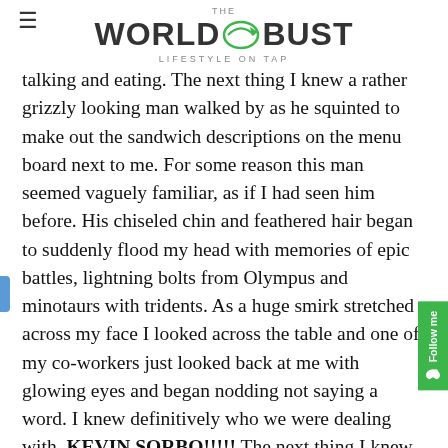THE WORLD OR BUST — LIFESTYLE ON TAP
talking and eating. The next thing I knew a rather grizzly looking man walked by as he squinted to make out the sandwich descriptions on the menu board next to me. For some reason this man seemed vaguely familiar, as if I had seen him before. His chiseled chin and feathered hair began to suddenly flood my head with memories of epic battles, lightning bolts from Olympus and minotaurs with tridents. As a huge smirk stretched across my face I looked across the table and one of my co-workers just looked back at me with glowing eyes and began nodding not saying a word. I knew definitively who we were dealing with. KEVIN SORBO!!!!! The next thing I knew, my friend Kelly and I were bothering